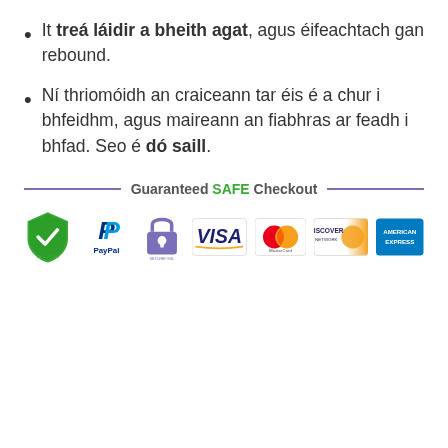It treá láidir a bheith agat, agus éifeachtach gan rebound.
Ní thriomóidh an craiceann tar éis é a chur i bhfeidhm, agus maireann an fiabhras ar feadh i bhfad. Seo é dó saill.
[Figure (infographic): Guaranteed SAFE Checkout banner with payment method logos: AES-256bit shield, PayPal, secure lock, Visa, MasterCard, Discover, American Express]